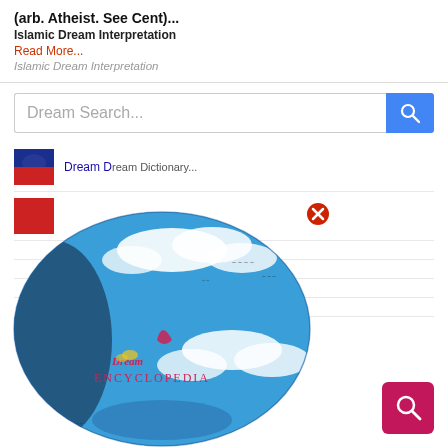(arb. Atheist. See Cent)...
Islamic Dream Interpretation
Read More...
Islamic Dream Interpretation
[Figure (screenshot): Search bar with placeholder text 'Dream Search...' and a blue search button with magnifying glass icon]
[Figure (screenshot): Search result row with thumbnail icon and link text 'Dream D...' (Dream Dictionary/Encyclopedia)]
[Figure (illustration): Popup overlay showing a globe illustration with blue sky, clouds, birds, and 'Dream Encyclopedia' text logo, with a red X close button in top right]
[Figure (illustration): Pink/red floating action button with magnifying glass icon in bottom right corner]